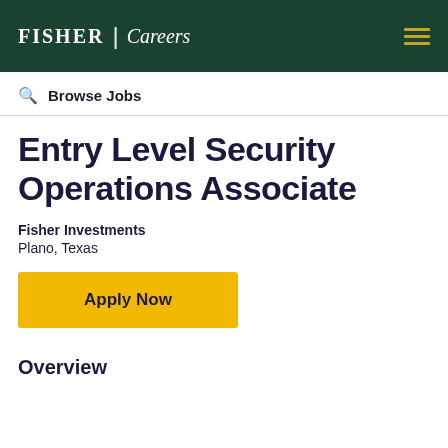Fisher Careers
Browse Jobs
Entry Level Security Operations Associate
Fisher Investments
Plano, Texas
Apply Now
Overview